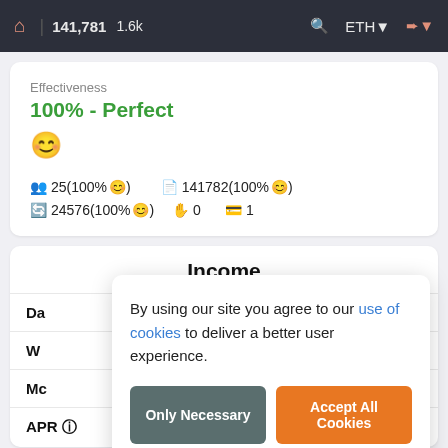🏠 | 141,781  1.6k   🔍  ETH ▾  ➜ ▾
Effectiveness
100% - Perfect
😊
⚙ 25(100% 😊)   📄 141782(100% 😊)
🔄 24576(100% 😊)   👤 0   💳 1
Income
Da
W
Mc
APR ⓘ   4%
By using our site you agree to our use of cookies to deliver a better user experience.
Only Necessary   Accept All Cookies